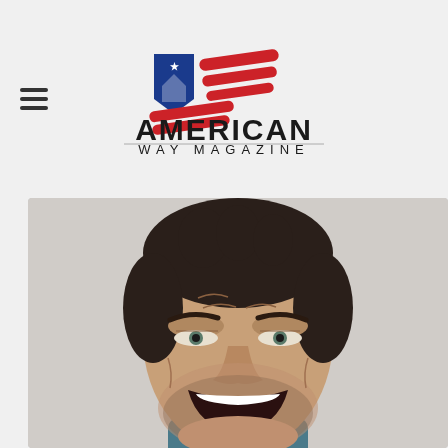[Figure (logo): American Way Magazine logo with American flag-styled graphic above the text AMERICAN WAY MAGAZINE]
[Figure (photo): Close-up photo of an angry man with dark hair, furrowed brow, open mouth showing teeth, wearing a teal/blue shirt, shouting or screaming expression]